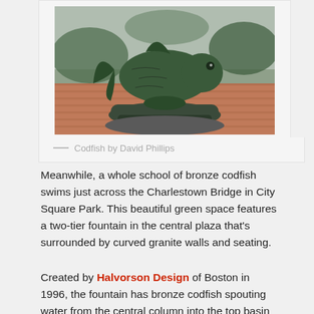[Figure (photo): Bronze codfish sculpture on a rounded base, showing a large fish with detailed scales and fins, photographed outdoors on brick pavement with greenery in background.]
— Codfish by David Phillips
Meanwhile, a whole school of bronze codfish swims just across the Charlestown Bridge in City Square Park. This beautiful green space features a two-tier fountain in the central plaza that's surrounded by curved granite walls and seating.
Created by Halvorson Design of Boston in 1996, the fountain has bronze codfish spouting water from the central column into the top basin while more cod swim